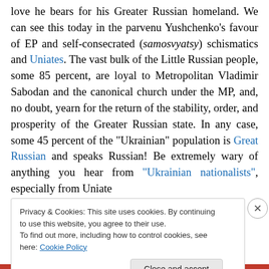love he bears for his Greater Russian homeland. We can see this today in the parvenu Yushchenko's favour of EP and self-consecrated (samosvyatsy) schismatics and Uniates. The vast bulk of the Little Russian people, some 85 percent, are loyal to Metropolitan Vladimir Sabodan and the canonical church under the MP, and, no doubt, yearn for the return of the stability, order, and prosperity of the Greater Russian state. In any case, some 45 percent of the "Ukrainian" population is Great Russian and speaks Russian! Be extremely wary of anything you hear from "Ukrainian nationalists", especially from Uniate
Privacy & Cookies: This site uses cookies. By continuing to use this website, you agree to their use. To find out more, including how to control cookies, see here: Cookie Policy